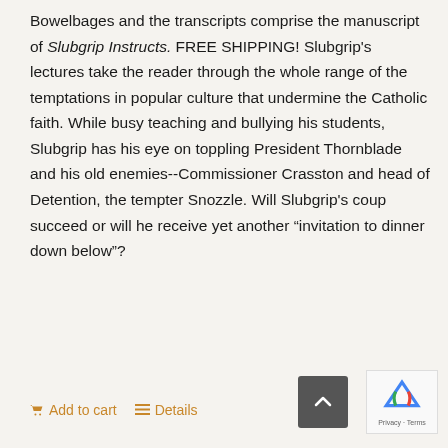Bowelbages and the transcripts comprise the manuscript of Slubgrip Instructs. FREE SHIPPING! Slubgrip's lectures take the reader through the whole range of the temptations in popular culture that undermine the Catholic faith. While busy teaching and bullying his students, Slubgrip has his eye on toppling President Thornblade and his old enemies--Commissioner Crasston and head of Detention, the tempter Snozzle. Will Slubgrip's coup succeed or will he receive yet another “invitation to dinner down below”?
Add to cart   Details